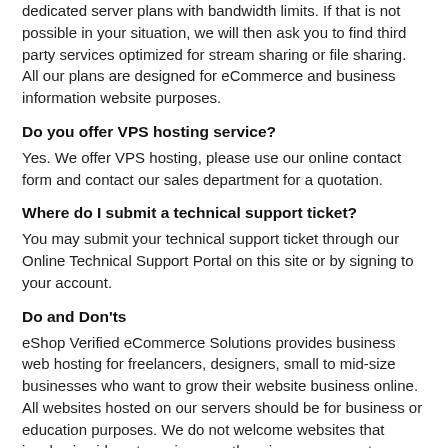dedicated server plans with bandwidth limits. If that is not possible in your situation, we will then ask you to find third party services optimized for stream sharing or file sharing. All our plans are designed for eCommerce and business information website purposes.
Do you offer VPS hosting service?
Yes. We offer VPS hosting, please use our online contact form and contact our sales department for a quotation.
Where do I submit a technical support ticket?
You may submit your technical support ticket through our Online Technical Support Portal on this site or by signing to your account.
Do and Don'ts
eShop Verified eCommerce Solutions provides business web hosting for freelancers, designers, small to mid-size businesses who want to grow their website business online. All websites hosted on our servers should be for business or education purposes. We do not welcome websites that involve in video streaming, overthrowing governments or authorities, scams, frauds, sharing images and media, political opinions, extreme